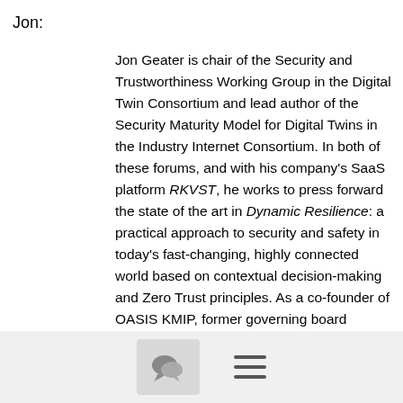Jon:
Jon Geater is chair of the Security and Trustworthiness Working Group in the Digital Twin Consortium and lead author of the Security Maturity Model for Digital Twins in the Industry Internet Consortium. In both of these forums, and with his company's SaaS platform RKVST, he works to press forward the state of the art in Dynamic Resilience: a practical approach to security and safety in today's fast-changing, highly connected world based on contextual decision-making and Zero Trust principles. As a co-founder of OASIS KMIP, former governing board member of Linux Foundation's Hyperledger project, and former board member and chair of the Security Task Force at GlobalPlatform, Jon has a strong and dedicated commitment to open standards in
[Figure (other): Footer bar with chat bubble icon button and hamburger menu icon]